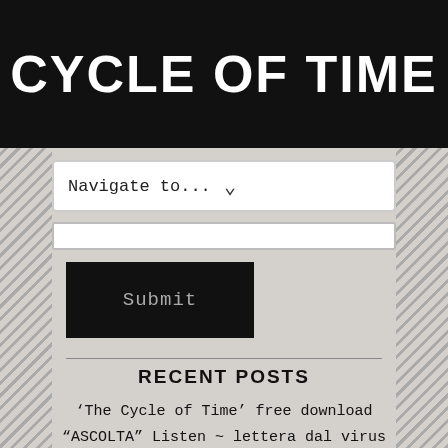CYCLE OF TIME
Navigate to...
Submit
RECENT POSTS
'The Cycle of Time' free download
“ASCOLTA” Listen ~ lettera dal virus
The Lament of Hermes, read by Graham Hancock
Koyaanisqatsi – Life out of Balance